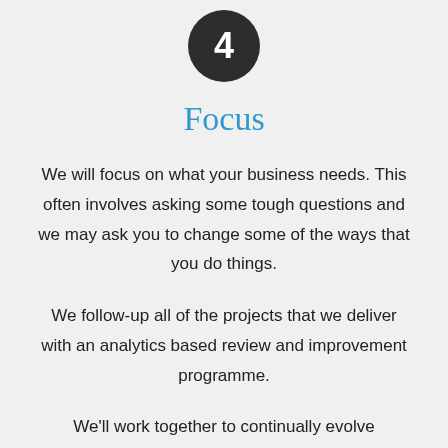[Figure (infographic): Dark grey circle with white number 4 inside]
Focus
We will focus on what your business needs. This often involves asking some tough questions and we may ask you to change some of the ways that you do things.
We follow-up all of the projects that we deliver with an analytics based review and improvement programme.
We'll work together to continually evolve